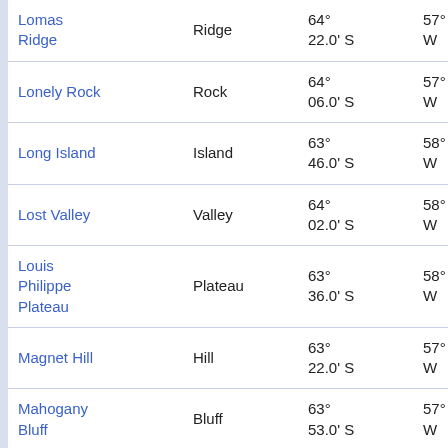| Name | Type | Latitude | Longitude | Distance |
| --- | --- | --- | --- | --- |
| Lomas Ridge | Ridge | 64° 22.0' S | 57° 35.0' W | 30.0 km at 158° |
| Lonely Rock | Rock | 64° 06.0' S | 57° 03.0' W | 37.3 km at 87° |
| Long Island | Island | 63° 46.0' S | 58° 12.0' W | 43.2 km at 334° |
| Lost Valley | Valley | 64° 02.0' S | 58° 24.0' W | 29.8 km at 288° |
| Louis Philippe Plateau | Plateau | 63° 36.0' S | 58° 21.0' W | 63.1 km at 335° |
| Magnet Hill | Hill | 63° 22.0' S | 57° 22.0' W | 86.3 km at 15° |
| Mahogany Bluff | Bluff | 63° 53.0' S | 57° 14.0' W | 38.5 km at 48° |
| Marescot Point | Cape | 63° 29.0' S | 58° 35.0' W | 79.9 km at 332° |